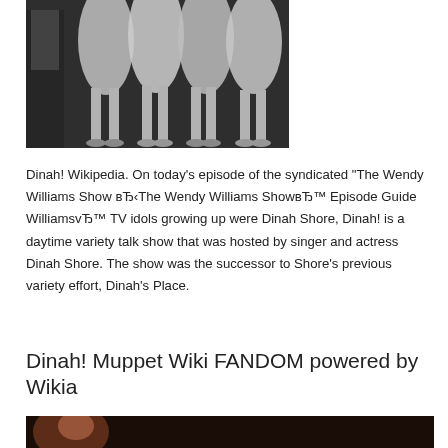[Figure (photo): Black and white photograph showing a man in a suit and several women in pleated skirts and heels, cropped at torso/legs level.]
Dinah! Wikipedia. On today's episode of the syndicated "The Wendy Williams Show вЂ‹The Wendy Williams ShowвЂ™ Episode Guide WilliamsvЂ™ TV idols growing up were Dinah Shore, Dinah! is a daytime variety talk show that was hosted by singer and actress Dinah Shore. The show was the successor to Shore's previous variety effort, Dinah's Place.
Dinah! Muppet Wiki FANDOM powered by Wikia
[Figure (photo): Partial bottom photograph, appears to show a person, dark tones, cropped at top of frame.]